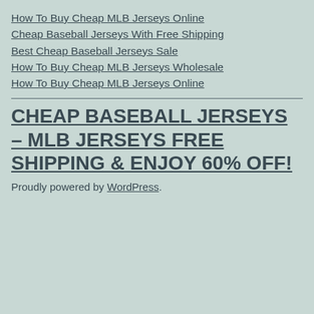How To Buy Cheap MLB Jerseys Online
Cheap Baseball Jerseys With Free Shipping
Best Cheap Baseball Jerseys Sale
How To Buy Cheap MLB Jerseys Wholesale
How To Buy Cheap MLB Jerseys Online
CHEAP BASEBALL JERSEYS – MLB JERSEYS FREE SHIPPING & ENJOY 60% OFF!
Proudly powered by WordPress.